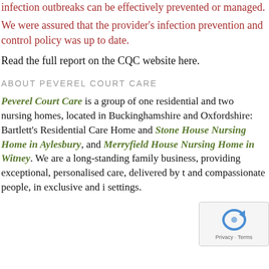infection outbreaks can be effectively prevented or managed.
We were assured that the provider's infection prevention and control policy was up to date.
Read the full report on the CQC website here.
ABOUT PEVEREL COURT CARE
Peverel Court Care is a group of one residential and two nursing homes, located in Buckinghamshire and Oxfordshire: Bartlett's Residential Care Home and Stone House Nursing Home in Aylesbury, and Merryfield House Nursing Home in Witney. We are a long-standing family business, providing exceptional, personalised care, delivered by t and compassionate people, in exclusive and i settings.